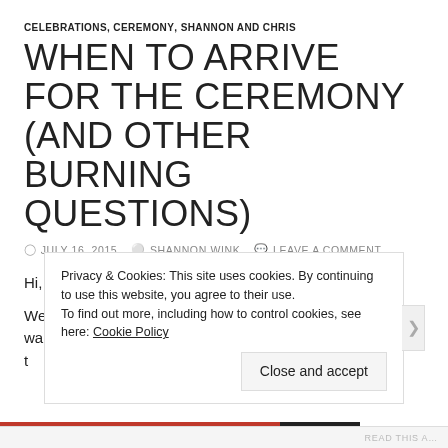CELEBRATIONS, CEREMONY, SHANNON AND CHRIS
WHEN TO ARRIVE FOR THE CEREMONY (AND OTHER BURNING QUESTIONS)
JULY 16, 2015  SHANNON WINK  LEAVE A COMMENT
Hi, everyone!
We look forward to seeing you all next weekend, and wanted t…
Privacy & Cookies: This site uses cookies. By continuing to use this website, you agree to their use. To find out more, including how to control cookies, see here: Cookie Policy
Close and accept